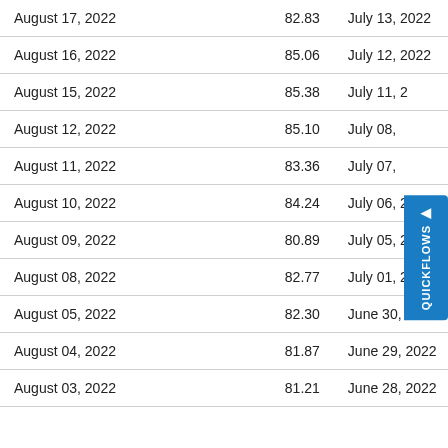| August 17, 2022 | 82.83 | July 13, 2022 |
| August 16, 2022 | 85.06 | July 12, 2022 |
| August 15, 2022 | 85.38 | July 11, 2022 |
| August 12, 2022 | 85.10 | July 08, 2022 |
| August 11, 2022 | 83.36 | July 07, 2022 |
| August 10, 2022 | 84.24 | July 06, 2022 |
| August 09, 2022 | 80.89 | July 05, 2022 |
| August 08, 2022 | 82.77 | July 01, 2022 |
| August 05, 2022 | 82.30 | June 30, 2022 |
| August 04, 2022 | 81.87 | June 29, 2022 |
| August 03, 2022 | 81.21 | June 28, 2022 |